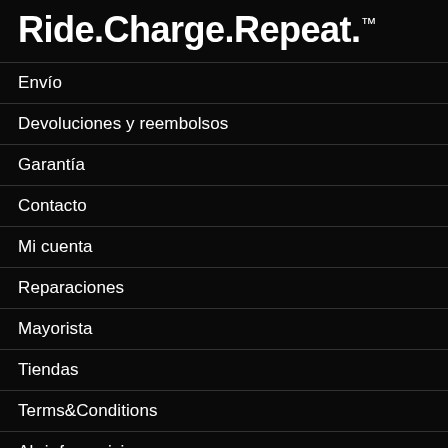Ride.Charge.Repeat.™
Envío
Devoluciones y reembolsos
Garantía
Contacto
Mi cuenta
Reparaciones
Mayorista
Tiendas
Terms&Conditions
Abrir franquicia